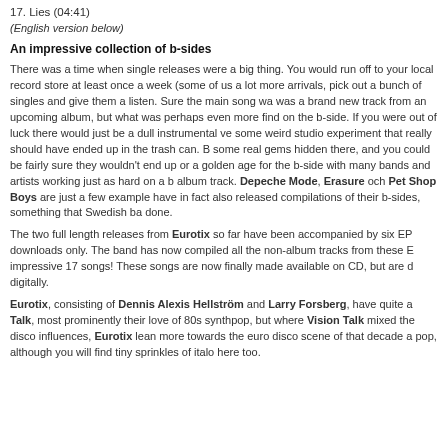17. Lies (04:41)
(English version below)
An impressive collection of b-sides
There was a time when single releases were a big thing. You would run off to your local record store at least once a week (some of us a lot more often) to check out the new arrivals, pick out a bunch of singles and give them a listen. Sure the main song was a big deal, often it was a brand new track from an upcoming album, but what was perhaps even more exciting was what you could find on the b-side. If you were out of luck there would just be a dull instrumental version or some weird studio experiment that really should have ended up in the trash can. But sometimes there were some real gems hidden there, and you could be fairly sure they wouldn't end up on the album. It was a golden age for the b-side with many bands and artists working just as hard on a b-side as on an album track. Depeche Mode, Erasure och Pet Shop Boys are just a few examples of bands that have in fact also released compilations of their b-sides, something that Swedish bands rarely have done.
The two full length releases from Eurotix so far have been accompanied by six EPs released as downloads only. The band has now compiled all the non-album tracks from these EPs resulting in an impressive 17 songs! These songs are now finally made available on CD, but are of course also available digitally.
Eurotix, consisting of Dennis Alexis Hellström and Larry Forsberg, have quite a lot in common with Vision Talk, most prominently their love of 80s synthpop, but where Vision Talk mixed their sound with italo disco influences, Eurotix lean more towards the euro disco scene of that decade and the following synth pop, although you will find tiny sprinkles of italo here too.